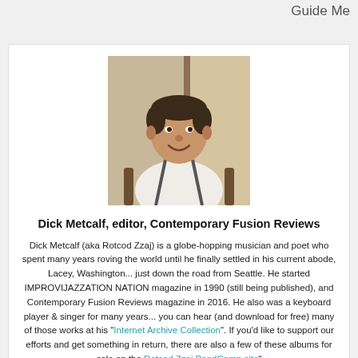Guide Me
[Figure (photo): Headshot photo of Dick Metcalf, a middle-aged man smiling, wearing a white shirt with suspenders, seated indoors.]
Dick Metcalf, editor, Contemporary Fusion Reviews
Dick Metcalf (aka Rotcod Zzaj) is a globe-hopping musician and poet who spent many years roving the world until he finally settled in his current abode, Lacey, Washington... just down the road from Seattle. He started IMPROVIJAZZATION NATION magazine in 1990 (still being published), and Contemporary Fusion Reviews magazine in 2016. He also was a keyboard player & singer for many years... you can hear (and download for free) many of those works at his "Internet Archive Collection". If you'd like to support our efforts and get something in return, there are also a few of these albums for sale on the Rotcod Zzaj BandCamp site".